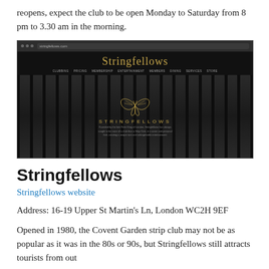reopens, expect the club to be open Monday to Saturday from 8 pm to 3.30 am in the morning.
[Figure (screenshot): Screenshot of the Stringfellows website showing a dark background with vertical curtain-like stripes, a gold butterfly logo in the center, the word STRINGFELLOWS in gold capital letters, and a navigation bar at the top.]
Stringfellows
Stringfellows website
Address: 16-19 Upper St Martin's Ln, London WC2H 9EF
Opened in 1980, the Covent Garden strip club may not be as popular as it was in the 80s or 90s, but Stringfellows still attracts tourists from out